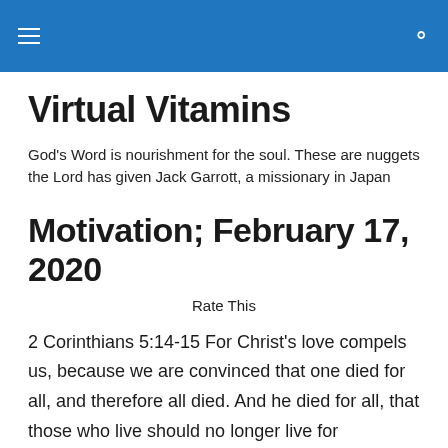Virtual Vitamins [navigation bar with hamburger menu and search icon]
Virtual Vitamins
God's Word is nourishment for the soul. These are nuggets the Lord has given Jack Garrott, a missionary in Japan
Motivation; February 17, 2020
Rate This
2 Corinthians 5:14-15 For Christ's love compels us, because we are convinced that one died for all, and therefore all died. And he died for all, that those who live should no longer live for themselves but for him who died for them and was raised again.